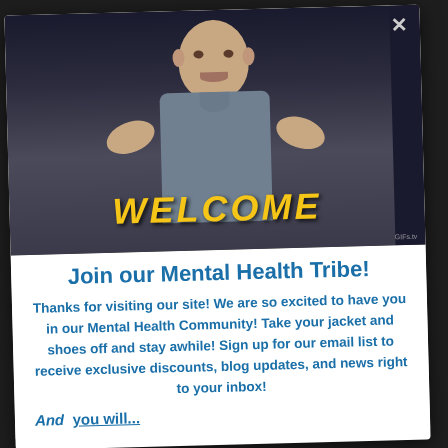[Figure (photo): A bald man in a grey suit (resembling Dr. Evil character) with hands raised, in a dark scene. Yellow bold italic text reads 'WELCOME' overlaid at the bottom of the image. Small watermark 'GIFs.tv' in bottom right corner.]
Join our Mental Health Tribe!
Thanks for visiting our site! We are so excited to have you in our Mental Health Community! Take your jacket and shoes off and stay awhile! Sign up for our email list to receive exclusive discounts, blog updates, and news right to your inbox!
And  you will...